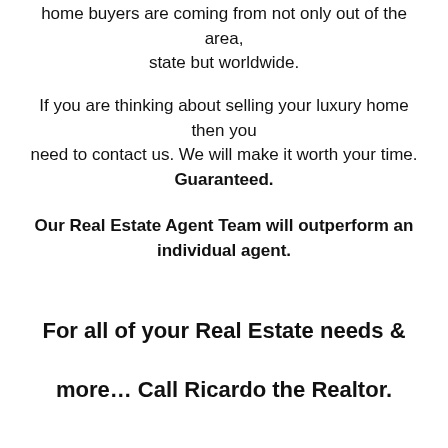home buyers are coming from not only out of the area, state but worldwide.
If you are thinking about selling your luxury home then you need to contact us. We will make it worth your time. Guaranteed.
Our Real Estate Agent Team will outperform an individual agent.
For all of your Real Estate needs & more… Call Ricardo the Realtor.
562.533.4003